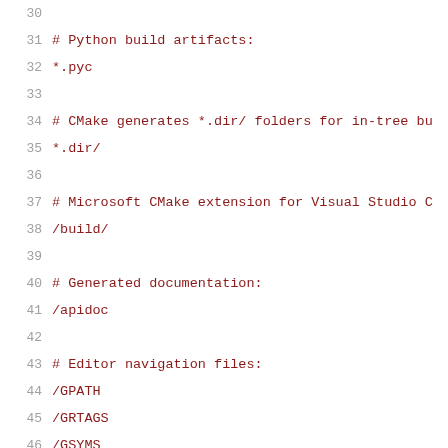30
31    # Python build artifacts:
32    *.pyc
33
34    # CMake generates *.dir/ folders for in-tree bu...
35    *.dir/
36
37    # Microsoft CMake extension for Visual Studio C...
38    /build/
39
40    # Generated documentation:
41    /apidoc
42
43    # Editor navigation files:
44    /GPATH
45    /GRTAGS
46    /GSYMS
47    /GTAGS
48    /TAGS
49    /cscope*.out
50    /tags